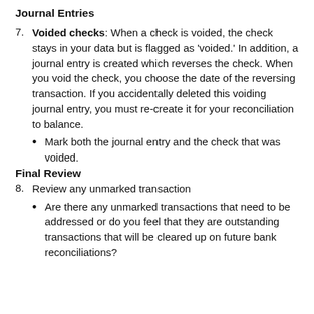Journal Entries
7. Voided checks: When a check is voided, the check stays in your data but is flagged as 'voided.' In addition, a journal entry is created which reverses the check. When you void the check, you choose the date of the reversing transaction. If you accidentally deleted this voiding journal entry, you must re-create it for your reconciliation to balance.
Mark both the journal entry and the check that was voided.
Final Review
8. Review any unmarked transaction
Are there any unmarked transactions that need to be addressed or do you feel that they are outstanding transactions that will be cleared up on future bank reconciliations?